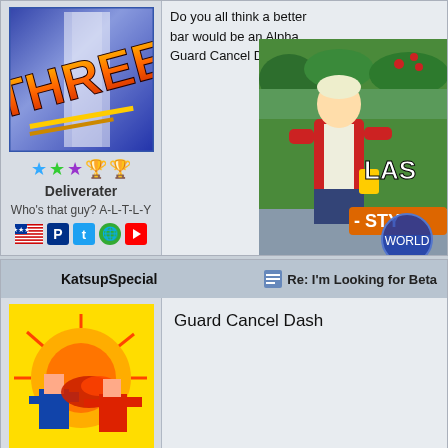[Figure (screenshot): Forum post by user 'Deliverater' with avatar showing Street Fighter III logo, star ratings, and social media icons. Right side shows partial text about Alpha bar and Guard Cancel Dash/Ro, plus a game screenshot of a character from Last Bout with caption 'Download Last Bout now!']
Do you all think a better bar would be an Alpha ... Guard Cancel Dash/Ro...
[Figure (photo): Game screenshot showing anime-style fighting game character in red jacket, white shirt, on colorful background with 'LAS' text and '- STY' partial text visible]
Download Last Bout now!
Who's that guy? A-L-T-L-Y
Deliverater
KatsupSpecial
Re: I'm Looking for Beta
Guard Cancel Dash
[Figure (screenshot): Avatar showing pixel art fighting game scene with explosion effects on yellow background]